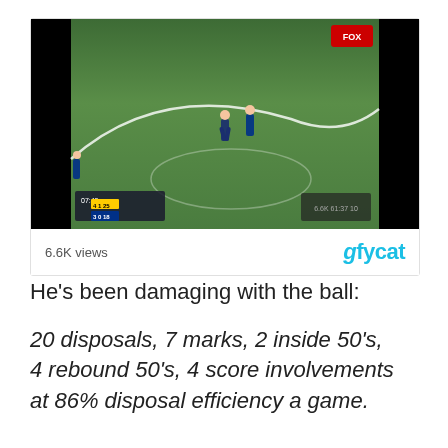[Figure (screenshot): Embedded Gfycat video player showing an Australian rules football match on a grass oval. Players visible on field. Fox Sports broadcast overlay visible. Score/time displayed in bottom left. View count '6.6K views' shown below video with Gfycat logo branding.]
He’s been damaging with the ball:
20 disposals, 7 marks, 2 inside 50’s, 4 rebound 50’s, 4 score involvements at 86% disposal efficiency a game.